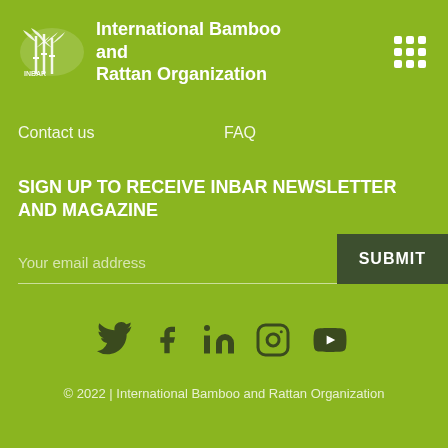International Bamboo and Rattan Organization
Contact us   FAQ
SIGN UP TO RECEIVE INBAR NEWSLETTER AND MAGAZINE
Your email address   SUBMIT
[Figure (infographic): Social media icons: Twitter, Facebook, LinkedIn, Instagram, YouTube]
© 2022 | International Bamboo and Rattan Organization